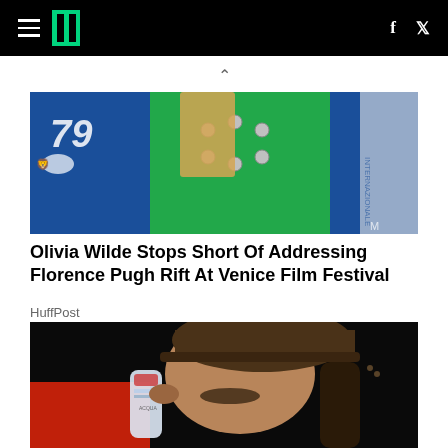HuffPost navigation bar with hamburger menu, logo, Facebook and Twitter icons
[Figure (photo): Olivia Wilde at Venice Film Festival 79, wearing a green jacket with silver floral buttons, blonde hair, in front of a blue backdrop]
Olivia Wilde Stops Short Of Addressing Florence Pugh Rift At Venice Film Festival
HuffPost
[Figure (photo): Man in a brown cap with long dark hair drinking from a water bottle, wearing a red jacket, photographed at night]